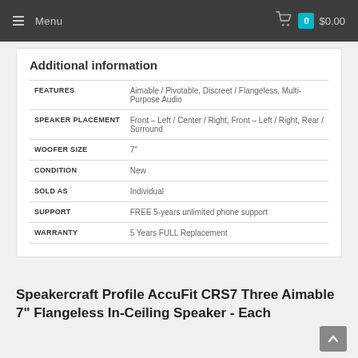Menu  0  $0.00
Additional information
| FEATURES | Aimable / Pivotable, Discreet / Flangeless, Multi-Purpose Audio |
| SPEAKER PLACEMENT | Front – Left / Center / Right, Front – Left / Right, Rear / Surround |
| WOOFER SIZE | 7" |
| CONDITION | New |
| SOLD AS | Individual |
| SUPPORT | FREE 5-years unlimited phone support |
| WARRANTY | 5 Years FULL Replacement |
Speakercraft Profile AccuFit CRS7 Three Aimable 7" Flangeless In-Ceiling Speaker - Each